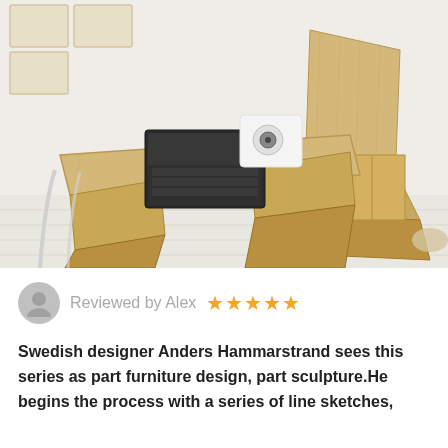[Figure (photo): A minimalist Scandinavian-style wooden furniture set consisting of an angular geometric desk/table and a matching sculptural chair, both made from light-colored plywood with angular zigzag forms. A laptop and a white speaker are placed on the desk. Wall-mounted open wooden cube shelves are visible in the background. The furniture sits on a white painted wooden floor in a bright room.]
Reviewed by Alex ★★★★★
Swedish designer Anders Hammarstrand sees this series as part furniture design, part sculpture.He begins the process with a series of line sketches,